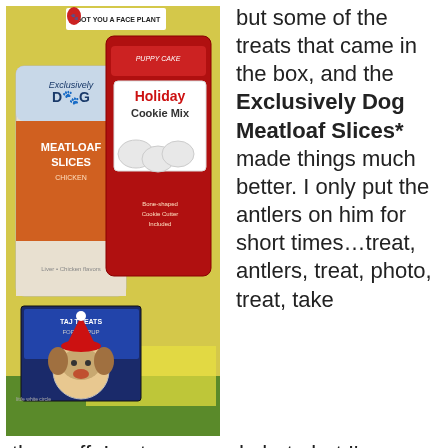[Figure (photo): Photo of dog treat products on a yellow background: Exclusively Dog Meatloaf Slices bag, Puppy Cake Holiday Cookie Mix red bag, and a dog-themed book/card, arranged on a green surface.]
but some of the treats that came in the box, and the Exclusively Dog Meatloaf Slices* made things much better. I only put the antlers on him for short times…treat, antlers, treat, photo, treat, take them off. I got one good photo but I'm saving that for our Christmas card.
It looks like I'll be doing some baking on Christmas Eve, the Puppy Cake Holiday Cookie Mix comes with a cookie